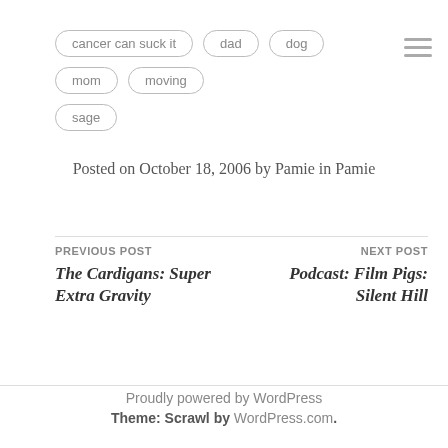cancer can suck it
dad
dog
mom
moving
sage
Posted on October 18, 2006 by Pamie in Pamie
PREVIOUS POST
The Cardigans: Super Extra Gravity
NEXT POST
Podcast: Film Pigs: Silent Hill
Proudly powered by WordPress
Theme: Scrawl by WordPress.com.